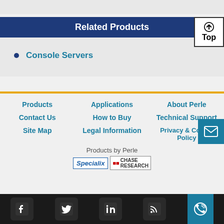Related Products
Console Servers
Products  Applications  About Perle  Contact Us  How to Buy  Technical Support  Site Map  Legal Information  Privacy & Cookie Policy
Products by Perle
[Figure (logo): Specialix and Chase Research brand logos]
[Figure (infographic): Social media icons: Facebook, Twitter, LinkedIn, RSS, and phone/email contact buttons]